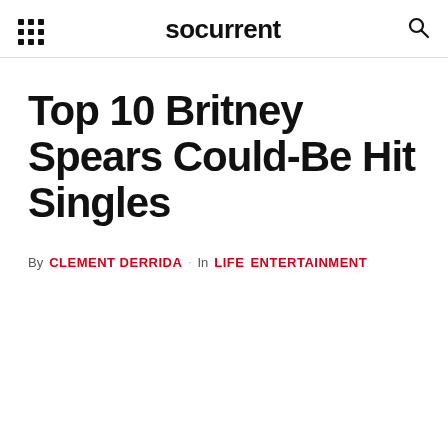socurrent
Top 10 Britney Spears Could-Be Hit Singles
By CLEMENT DERRIDA · In LIFE ENTERTAINMENT